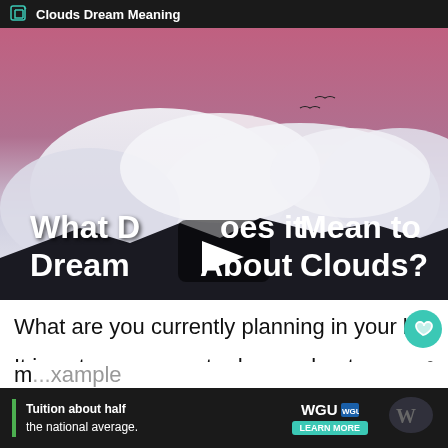Clouds Dream Meaning
[Figure (screenshot): Video thumbnail showing clouds and mountains with text overlay 'What Does it Mean to Dream About Clouds?' and a play button in the center.]
What are you currently planning in your life
It is not uncommon to dream about building
details and architectural features when a
m...xample
Tuition about half the national average. WGU LEARN MORE